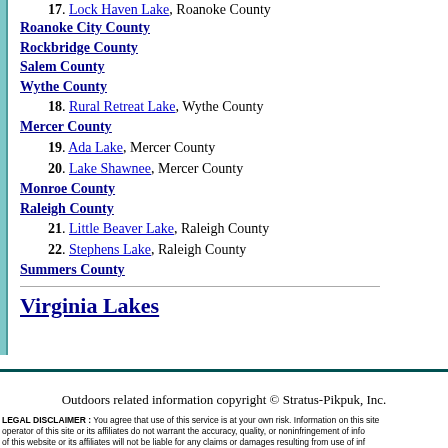17. Lock Haven Lake, Roanoke County
Roanoke City County
Rockbridge County
Salem County
Wythe County
18. Rural Retreat Lake, Wythe County
Mercer County
19. Ada Lake, Mercer County
20. Lake Shawnee, Mercer County
Monroe County
Raleigh County
21. Little Beaver Lake, Raleigh County
22. Stephens Lake, Raleigh County
Summers County
Virginia Lakes
Outdoors related information copyright © Stratus-Pikpuk, Inc.
LEGAL DISCLAIMER: You agree that use of this service is at your own risk. Information on this site operator of this site or its affiliates do not warrant the accuracy, quality, or noninfringement of info of this website or its affiliates will not be liable for any claims or damages resulting from use of inf